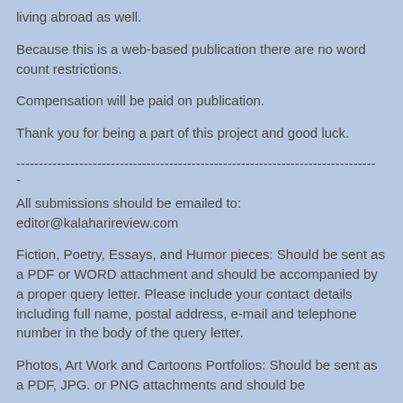living abroad as well.
Because this is a web-based publication there are no word count restrictions.
Compensation will be paid on publication.
Thank you for being a part of this project and good luck.
--------------------------------------------------------------------------------
-
All submissions should be emailed to: editor@kalaharireview.com
Fiction, Poetry, Essays, and Humor pieces: Should be sent as a PDF or WORD attachment and should be accompanied by a proper query letter. Please include your contact details including full name, postal address, e-mail and telephone number in the body of the query letter.
Photos, Art Work and Cartoons Portfolios: Should be sent as a PDF, JPG. or PNG attachments and should be